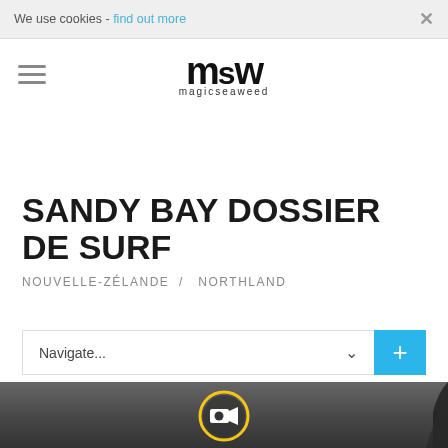We use cookies - find out more  ×
[Figure (logo): Magic Seaweed logo — stylized 'msw' lettermark above the word 'magicseaweed']
SANDY BAY DOSSIER DE SURF
NOUVELLE-ZÉLANDE  /  NORTHLAND
Navigate...
[Figure (screenshot): Dark photo background with a yellow-circle video play button (camera icon) centered at the bottom of the page, and tree silhouettes on the right edge.]